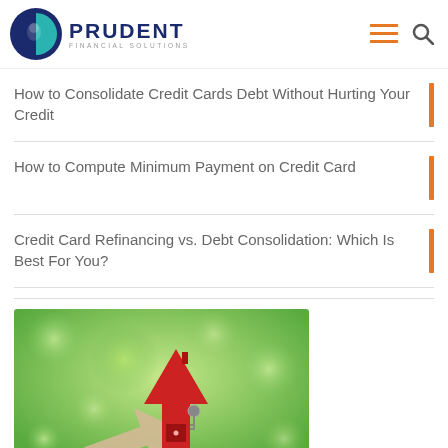PRUDENT FINANCIAL SOLUTIONS
How to Consolidate Credit Cards Debt Without Hurting Your Credit
How to Compute Minimum Payment on Credit Card
Credit Card Refinancing vs. Debt Consolidation: Which Is Best For You?
[Figure (photo): Photo of a red house-shaped arrow pointing upward with a key, set against a blurred green bokeh background, with a beige arrow in the foreground]